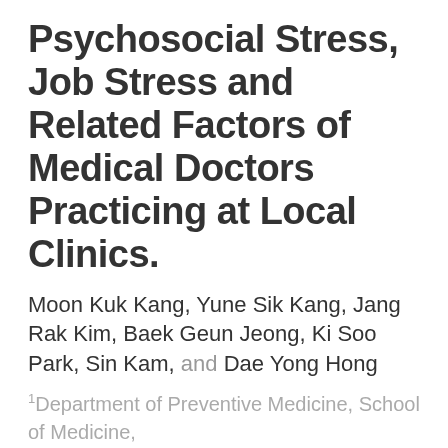Psychosocial Stress, Job Stress and Related Factors of Medical Doctors Practicing at Local Clinics.
Moon Kuk Kang, Yune Sik Kang, Jang Rak Kim, Baek Geun Jeong, Ki Soo Park, Sin Kam, and Dae Yong Hong
1Department of Preventive Medicine, School of Medicine,